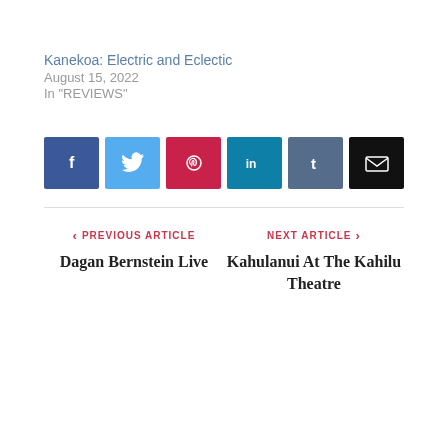Kanekoa: Electric and Eclectic
August 15, 2022
In "REVIEWS"
[Figure (other): Social sharing buttons: Facebook (blue), Twitter (light blue), Pinterest (red), LinkedIn (teal), Tumblr (slate blue), Email (black)]
PREVIOUS ARTICLE
Dagan Bernstein Live
NEXT ARTICLE
Kahulanui At The Kahilu Theatre
RELATED POSTS